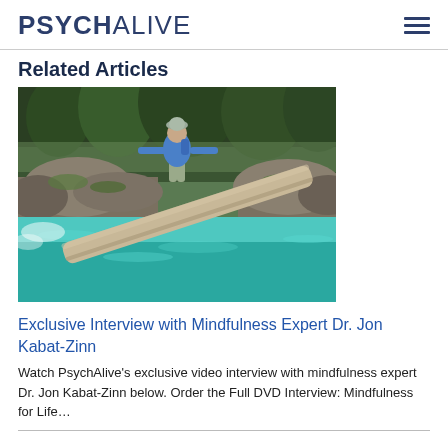PSYCHALIVE
Related Articles
[Figure (photo): Person in blue jacket balancing on a large log over a turquoise mountain river, surrounded by green forest and rocky banks.]
Exclusive Interview with Mindfulness Expert Dr. Jon Kabat-Zinn
Watch PsychAlive’s exclusive video interview with mindfulness expert Dr. Jon Kabat-Zinn below. Order the Full DVD Interview: Mindfulness for Life…